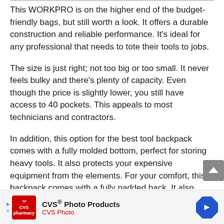This WORKPRO is on the higher end of the budget-friendly bags, but still worth a look. It offers a durable construction and reliable performance. It's ideal for any professional that needs to tote their tools to jobs.
The size is just right; not too big or too small. It never feels bulky and there's plenty of capacity. Even though the price is slightly lower, you still have access to 40 pockets. This appeals to most technicians and contractors.
In addition, this option for the best tool backpack comes with a fully molded bottom, perfect for storing heavy tools. It also protects your expensive equipment from the elements. For your comfort, this backpack comes with a fully padded back. It also has padded shoulders for
[Figure (other): CVS Photo Products advertisement banner at the bottom of the page, featuring CVS pharmacy logo in red, text 'CVS® Photo Products' and 'CVS Photo', and a blue diamond navigation icon.]